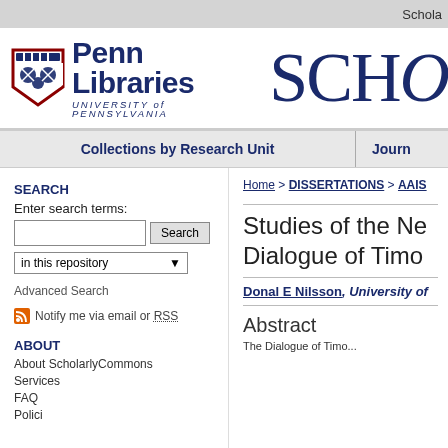Schola
[Figure (logo): Penn Libraries University of Pennsylvania logo with shield, next to large 'SCHO' text]
Collections by Research Unit | Journ
SEARCH
Enter search terms:
in this repository
Advanced Search
Notify me via email or RSS
ABOUT
About ScholarlyCommons
Services
FAQ
Policies
Home > DISSERTATIONS > AAIS
Studies of the Ne Dialogue of Timo
Donal E Nilsson, University of
Abstract
The Dialogue of Timo...